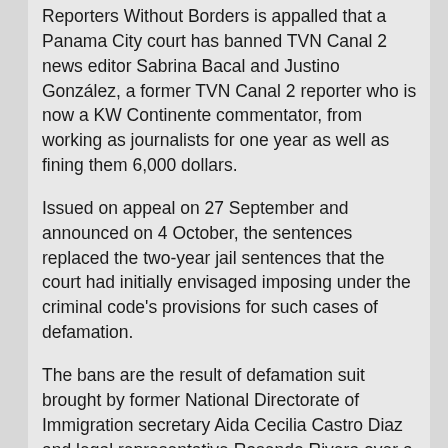Reporters Without Borders is appalled that a Panama City court has banned TVN Canal 2 news editor Sabrina Bacal and Justino González, a former TVN Canal 2 reporter who is now a KW Continente commentator, from working as journalists for one year as well as fining them 6,000 dollars.
Issued on appeal on 27 September and announced on 4 October, the sentences replaced the two-year jail sentences that the court had initially envisaged imposing under the criminal code's provisions for such cases of defamation.
The bans are the result of defamation suit brought by former National Directorate of Immigration secretary Aida Cecilia Castro Diaz and legal representative Rosendo Rivera over a September 2005 TVN Canal 2 report about a National Security Council investigation into the suspected involvement of immigration officials in a prostitution ring. Bacal and